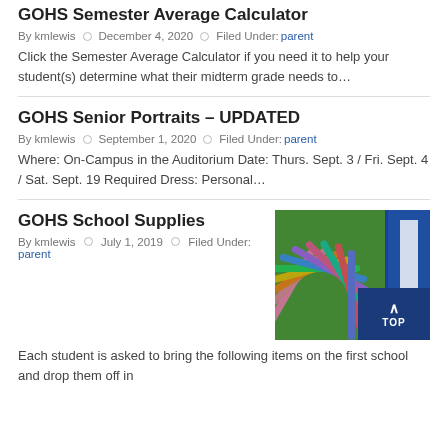GOHS Semester Average Calculator
By kmlewis  •  December 4, 2020  •  Filed Under: parent
Click the Semester Average Calculator if you need it to help your student(s) determine what their midterm grade needs to…
GOHS Senior Portraits – UPDATED
By kmlewis  •  September 1, 2020  •  Filed Under: parent
Where: On-Campus in the Auditorium Date: Thurs. Sept. 3 / Fri. Sept. 4 / Sat. Sept. 19 Required Dress: Personal…
GOHS School Supplies
By kmlewis  •  July 1, 2019  •  Filed Under: parent
[Figure (photo): Colorful pencils arranged in a fan pattern next to blue binders/folders]
Each student is asked to bring the following items on the first school and drop them off in